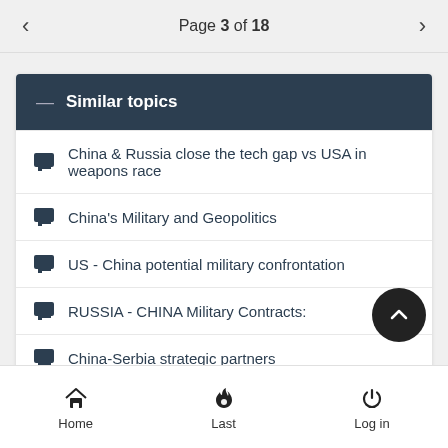Page 3 of 18
Similar topics
China & Russia close the tech gap vs USA in weapons race
China's Military and Geopolitics
US - China potential military confrontation
RUSSIA - CHINA Military Contracts:
China-Serbia strategic partners
Home   Last   Log in